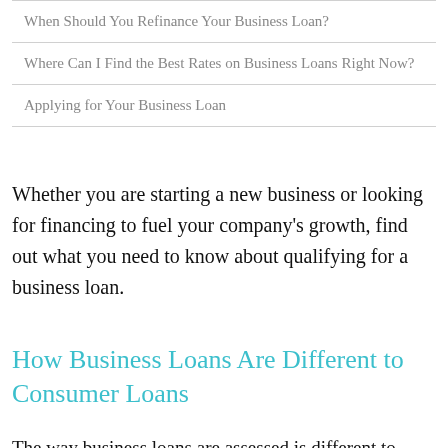| When Should You Refinance Your Business Loan? |
| Where Can I Find the Best Rates on Business Loans Right Now? |
| Applying for Your Business Loan |
Whether you are starting a new business or looking for financing to fuel your company’s growth, find out what you need to know about qualifying for a business loan.
How Business Loans Are Different to Consumer Loans
The way business loans are assessed is different to assessments on personal loans and home loans. This is because banks aren’t regulated by the National